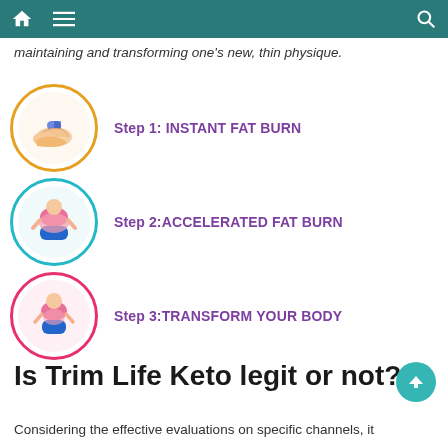Navigation bar with home, menu, and search icons
maintaining and transforming one's new, thin physique.
Step 1: INSTANT FAT BURN
Step 2:ACCELERATED FAT BURN
Step 3:TRANSFORM YOUR BODY
Is Trim Life Keto legit or not?
Considering the effective evaluations on specific channels, it